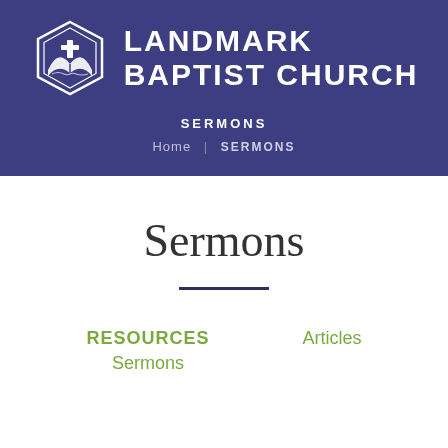[Figure (logo): Landmark Baptist Church logo: hexagonal badge with open Bible and cross icon in white on purple background, with church name in large white bold uppercase text]
SERMONS
Home  |  SERMONS
Sermons
RESOURCES
Articles
Sermons